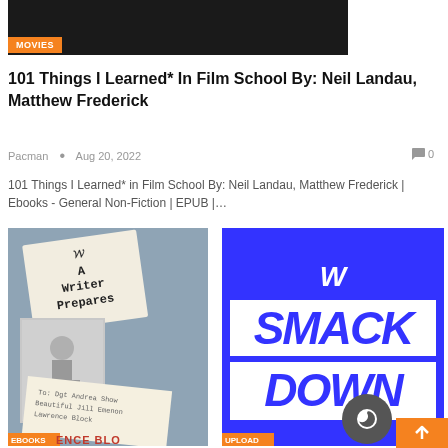[Figure (screenshot): Dark/black banner image at top with MOVIES orange badge label]
101 Things I Learned* In Film School By: Neil Landau, Matthew Frederick
Pacman  •  Aug 20, 2022
0
101 Things I Learned* in Film School By: Neil Landau, Matthew Frederick | Ebooks - General Non-Fiction | EPUB |…
[Figure (photo): Book cover – A Writer Prepares by Lawrence Block, showing a note card with handwritten-style text and a vintage black-and-white photo of a child]
[Figure (photo): WWE SmackDown blue promotional image with W logo and SMACK DOWN text in white]